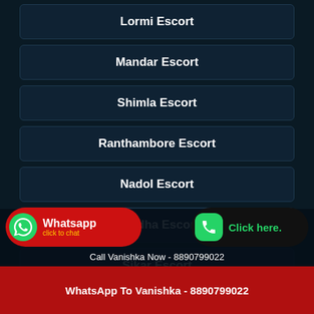Lormi Escort
Mandar Escort
Shimla Escort
Ranthambore Escort
Nadol Escort
Wardha Escort
Sikar Escort
Powai Escort
Call Vanishka Now - 8890799022
WhatsApp To Vanishka - 8890799022